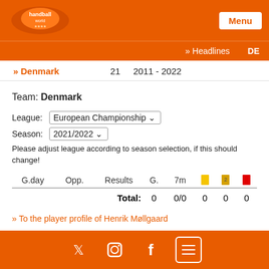handball-world logo | Menu
» Headlines   DE
» Denmark   21   2011 - 2022
Team: Denmark
League: European Championship ▾
Season: 2021/2022 ▾
Please adjust league according to season selection, if this should change!
| G.day | Opp. | Results | G. | 7m | 🟨 | 🟧 | 🟥 |
| --- | --- | --- | --- | --- | --- | --- | --- |
|  |  | Total: | 0 | 0/0 | 0 | 0 | 0 |
» To the player profile of Henrik Møllgaard
Twitter | Instagram | Facebook | Menu